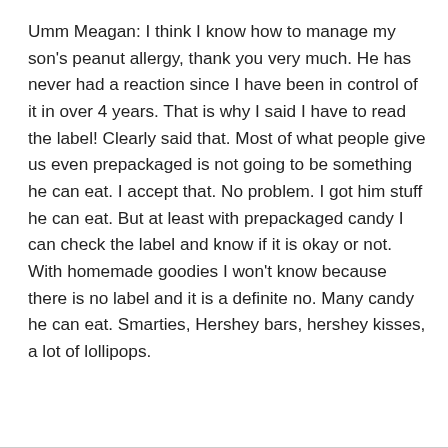Umm Meagan: I think I know how to manage my son's peanut allergy, thank you very much. He has never had a reaction since I have been in control of it in over 4 years. That is why I said I have to read the label! Clearly said that. Most of what people give us even prepackaged is not going to be something he can eat. I accept that. No problem. I got him stuff he can eat. But at least with prepackaged candy I can check the label and know if it is okay or not. With homemade goodies I won't know because there is no label and it is a definite no. Many candy he can eat. Smarties, Hershey bars, hershey kisses, a lot of lollipops.